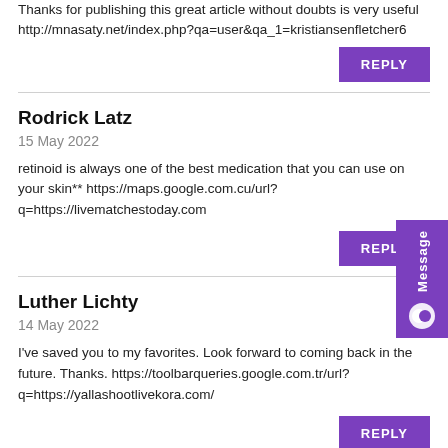Thanks for publishing this great article without doubts is very useful http://mnasaty.net/index.php?qa=user&qa_1=kristiansenfletcher6
REPLY
Rodrick Latz
15 May 2022
retinoid is always one of the best medication that you can use on your skin** https://maps.google.com.cu/url?q=https://livematchestoday.com
REPLY
Luther Lichty
14 May 2022
I've saved you to my favorites. Look forward to coming back in the future. Thanks. https://toolbarqueries.google.com.tr/url?q=https://yallashootlivekora.com/
REPLY